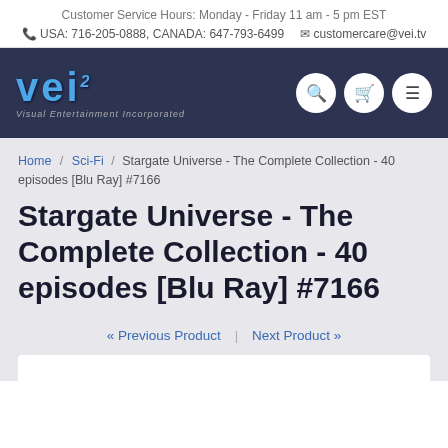Customer Service Hours: Monday - Friday 11 am - 5 pm EST
USA: 716-205-0888, CANADA: 647-793-6499  customercare@vei.tv
[Figure (logo): VEI - Visual Entertainment Incorporated logo with blue stylized text and navigation icons (search, cart, menu)]
Home / Sci-Fi / Stargate Universe - The Complete Collection - 40 episodes [Blu Ray] #7166
Stargate Universe - The Complete Collection - 40 episodes [Blu Ray] #7166
« Previous Product  |  Next Product »